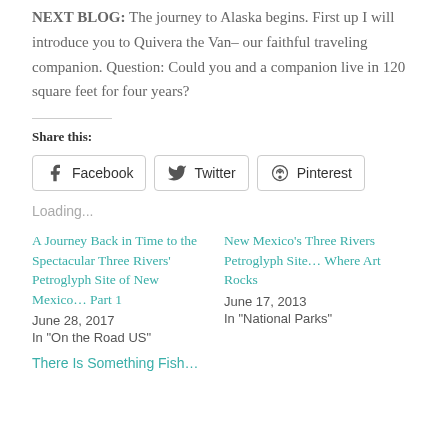NEXT BLOG: The journey to Alaska begins. First up I will introduce you to Quivera the Van– our faithful traveling companion. Question: Could you and a companion live in 120 square feet for four years?
Share this:
Facebook  Twitter  Pinterest
Loading...
A Journey Back in Time to the Spectacular Three Rivers' Petroglyph Site of New Mexico… Part 1
June 28, 2017
In "On the Road US"
New Mexico's Three Rivers Petroglyph Site… Where Art Rocks
June 17, 2013
In "National Parks"
There Is Something Fish…